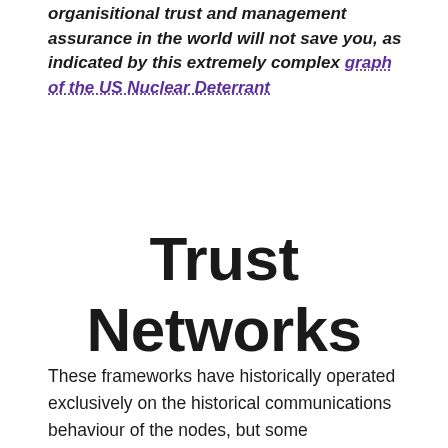organisitional trust and management assurance in the world will not save you, as indicated by this extremely complex graph of the US Nuclear Deterrant
Trust Networks
These frameworks have historically operated exclusively on the historical communications behaviour of the nodes, but some